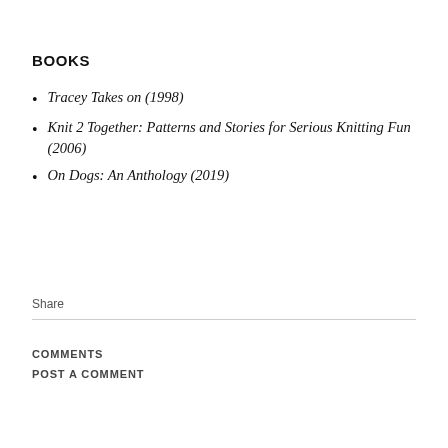BOOKS
Tracey Takes on (1998)
Knit 2 Together: Patterns and Stories for Serious Knitting Fun (2006)
On Dogs: An Anthology (2019)
Share
COMMENTS
POST A COMMENT